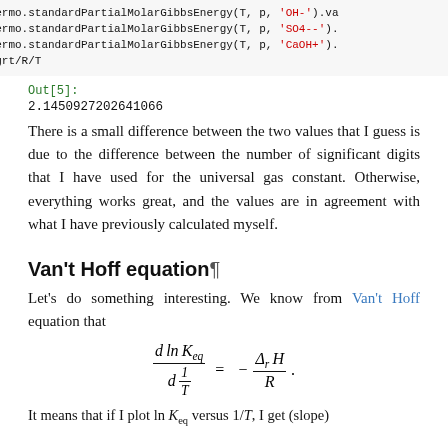thermo.standardPartialMolarGibbsEnergy(T, p, 'OH-').va
thermo.standardPartialMolarGibbsEnergy(T, p, 'SO4--').
thermo.standardPartialMolarGibbsEnergy(T, p, 'CaOH+').
-dgrt/R/T
Out[5]:
2.1450927202641066
There is a small difference between the two values that I guess is due to the difference between the number of significant digits that I have used for the universal gas constant. Otherwise, everything works great, and the values are in agreement with what I have previously calculated myself.
Van't Hoff equation¶
Let's do something interesting. We know from Van't Hoff equation that
It means that if I plot ln K_eq versus 1/T, I get (slope)